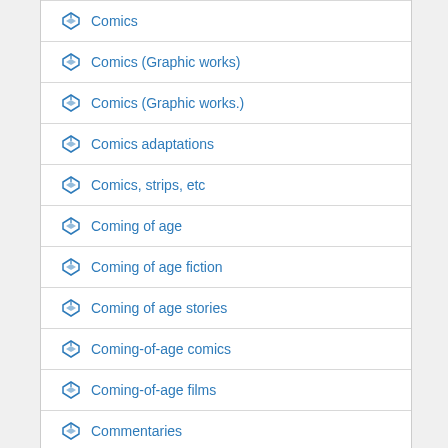Comics
Comics (Graphic works)
Comics (Graphic works.)
Comics adaptations
Comics, strips, etc
Coming of age
Coming of age fiction
Coming of age stories
Coming-of-age comics
Coming-of-age films
Commentaries